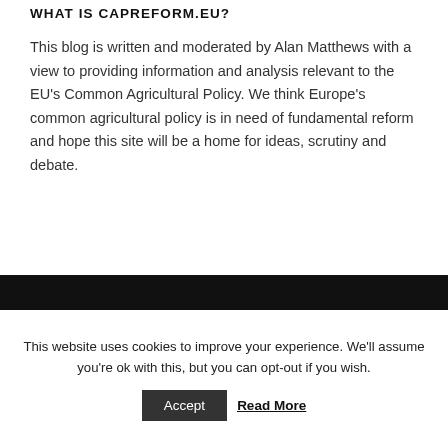WHAT IS CAPREFORM.EU?
This blog is written and moderated by Alan Matthews with a view to providing information and analysis relevant to the EU's Common Agricultural Policy. We think Europe's common agricultural policy is in need of fundamental reform and hope this site will be a home for ideas, scrutiny and debate.
[Figure (photo): Dark black band/image area in lower portion of page]
This website uses cookies to improve your experience. We'll assume you're ok with this, but you can opt-out if you wish.
Accept   Read More